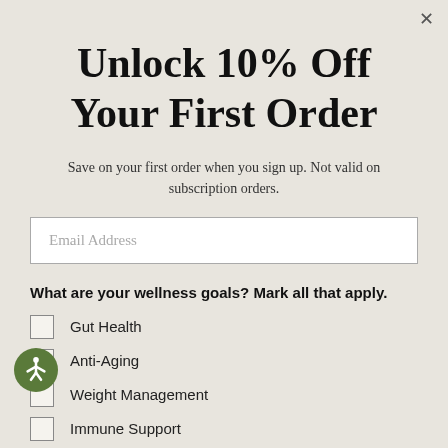Unlock 10% Off Your First Order
Save on your first order when you sign up. Not valid on subscription orders.
Email Address
What are your wellness goals? Mark all that apply.
Gut Health
Anti-Aging
Weight Management
Immune Support
Energy